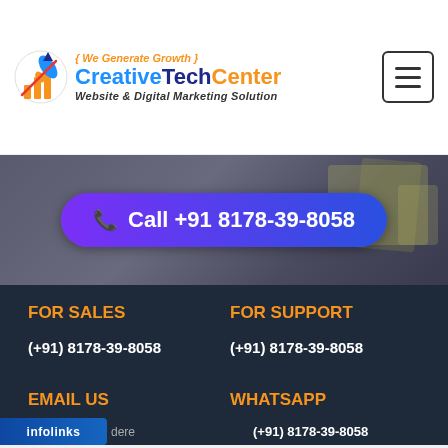[Figure (logo): CreativeTechCenter logo with rocket icon, tagline 'We Generate Growth', and subtitle 'Website & Digital Marketing Solution']
[Figure (screenshot): Blue/purple gradient call button: 'Call +91 8178-39-8058' on a dark hero background]
FOR SALES
(+91) 8178-39-8058
FOR SUPPORT
(+91) 8178-39-8058
EMAIL US
WHATSAPP
(+91) 8178-39-8058
[Figure (photo): Victoria's Secret advertisement banner: woman model, VS logo, 'SHOP THE COLLECTION' text, and 'SHOP NOW' button]